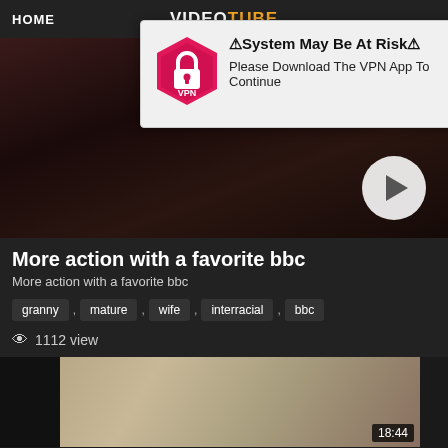HOME  VIDEOTUBE
[Figure (screenshot): VPN popup overlay with hexagon VPN logo, bold warning text '⚠System May Be At Risk⚠ Please Download The VPN App To Continue' and close X button]
[Figure (photo): Dark blurry video thumbnail with play button in bottom right]
More action with a favorite bbc
More action with a favorite bbc
granny , mature , wife , interracial , bbc
👁 1112 view
[Figure (screenshot): Second video thumbnail showing a scene with duration 18:44 in bottom right corner]